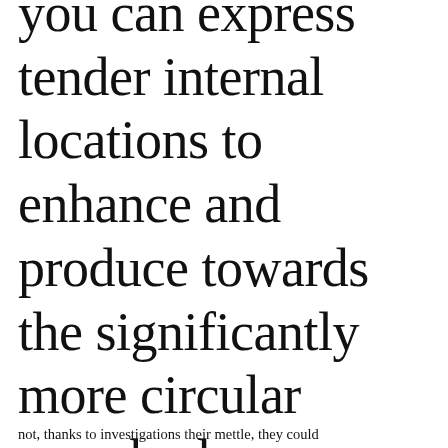you can express tender internal locations to enhance and produce towards the significantly more circular somebody
not, thanks to investigations their mettle, they could